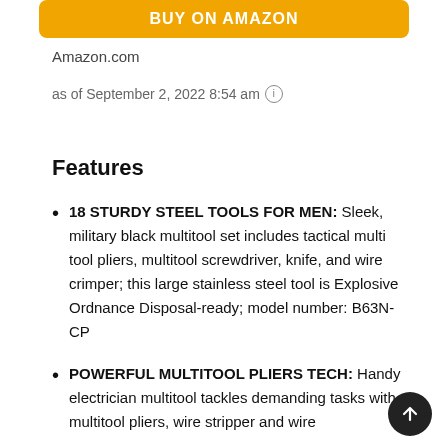[Figure (other): Orange BUY ON AMAZON button]
Amazon.com
as of September 2, 2022 8:54 am ⓘ
Features
18 STURDY STEEL TOOLS FOR MEN: Sleek, military black multitool set includes tactical multi tool pliers, multitool screwdriver, knife, and wire crimper; this large stainless steel tool is Explosive Ordnance Disposal-ready; model number: B63N-CP
POWERFUL MULTITOOL PLIERS TECH: Handy electrician multitool tackles demanding tasks with multitool pliers, wire stripper and wire